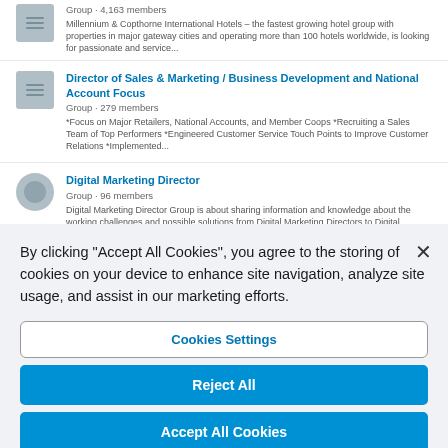Group · 4,163 members
Millennium & Copthorne International Hotels – the fastest growing hotel group with properties in major gateway cities and operating more than 100 hotels worldwide, is looking for passionate and service...
Director of Sales & Marketing / Business Development and National Account Focus
Group · 279 members
*Focus on Major Retailers, National Accounts, and Member Coops *Recruiting a Sales Team of Top Performers *Engineered Customer Service Touch Points to Improve Customer Relations *Implemented...
Digital Marketing Director
Group · 96 members
Digital Marketing Director Group is about sharing information and knowledge about the working challenges and possible solutions from Digital Marketing Directors to Digital Marketing Directors.
VP | Director Ecommerce, Digital Marketing Leadership in the Greater Los Angeles Area
Group · 240 members
By clicking "Accept All Cookies", you agree to the storing of cookies on your device to enhance site navigation, analyze site usage, and assist in our marketing efforts.
Cookies Settings
Reject All
Accept All Cookies